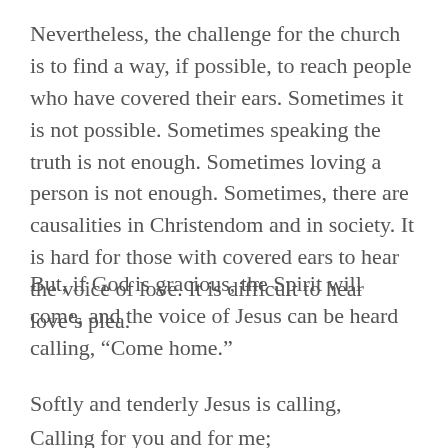Nevertheless, the challenge for the church is to find a way, if possible, to reach people who have covered their ears. Sometimes it is not possible. Sometimes speaking the truth is not enough. Sometimes loving a person is not enough. Sometimes, there are causalities in Christendom and in society. It is hard for those with covered ears to hear the voice of love. It is difficult to hear love's plea.
But, if God is gracious, the Spirit will come, and the voice of Jesus can be heard calling, “Come home.”
Softly and tenderly Jesus is calling,
Calling for you and for me;